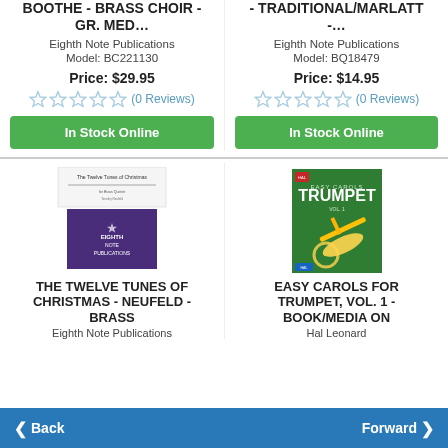BOOTHE - BRASS CHOIR - GR. MED…
Eighth Note Publications
Model: BC221130
Price: $29.95
(0 Reviews)
In Stock Online
- TRADITIONAL/MARLATT -…
Eighth Note Publications
Model: BQ18479
Price: $14.95
(0 Reviews)
In Stock Online
[Figure (illustration): Book cover for The Twelve Tunes of Christmas - purple cover with Eighth Note Publications logo]
THE TWELVE TUNES OF CHRISTMAS - NEUFELD - BRASS
Eighth Note Publications
[Figure (illustration): Book cover for Easy Carols for Trumpet Vol. 1 - green cover with trumpet image]
EASY CAROLS FOR TRUMPET, VOL. 1 - BOOK/MEDIA ON
Hal Leonard
Back   Forward